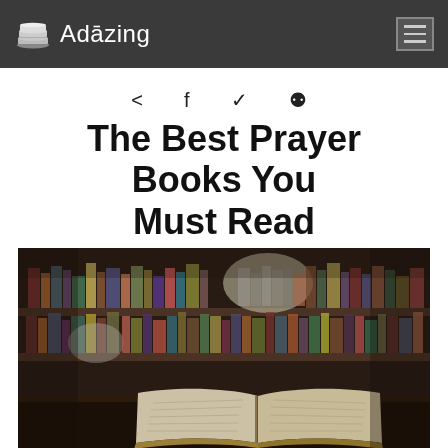Adāzing
< f 𝕎 ℗
The Best Prayer Books You Must Read
[Figure (photo): An open book on a wooden surface with a blurred library bookshelf in the background, warm tones]